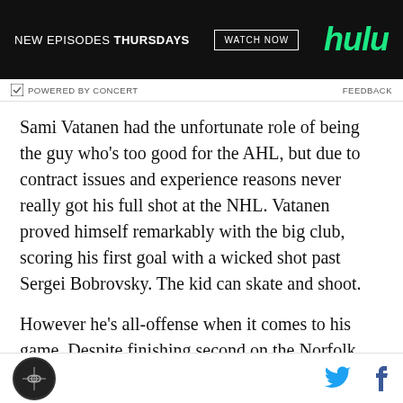[Figure (other): Advertisement banner for Hulu streaming service showing 'NEW EPISODES THURSDAYS' text with WATCH NOW button and Hulu logo in green on black background]
POWERED BY CONCERT   FEEDBACK
Sami Vatanen had the unfortunate role of being the guy who's too good for the AHL, but due to contract issues and experience reasons never really got his full shot at the NHL. Vatanen proved himself remarkably with the big club, scoring his first goal with a wicked shot past Sergei Bobrovsky. The kid can skate and shoot.
However he's all-offense when it comes to his game. Despite finishing second on the Norfolk Admirals in points, Vatanen finished even on plus-minus, meaning
Site logo | Twitter icon | Facebook icon